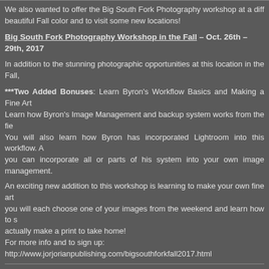We also wanted to offer the Big South Fork Photography workshop at a different time to catch the beautiful Fall color and to visit some new locations!
Big South Fork Photography Workshop in the Fall – Oct. 26th – 29th, 2017
In addition to the stunning photographic opportunities at this location in the Fall,
***Two Added Bonuses: Learn Byron's Workflow Basics and Making a Fine Art Print. Learn how Byron's Image Management and backup system works from the field. You will also learn how Byron has incorporated Lightroom into this workflow. And you can incorporate all or parts of his system into your own image management.
An exciting new addition to this workshop is learning to make your own fine art print – you will each choose one of your images from the weekend and learn how to select and actually make a print to take home!
For more info and to sign up:
http://www.jorjorianpublishing.com/bigsouthforkfall2017.html
Then, don't forget Little River Canyon!  It is coming up soon!
Little River Canyon Photography Workshop – August 25 – 27, 2017
***Added Bonus: Learn Byron's Workflow Basics. Learn how Byron's Image Management and backup system works from the field. You will also learn how Byron has incorporated Lightroom into this workflow. A